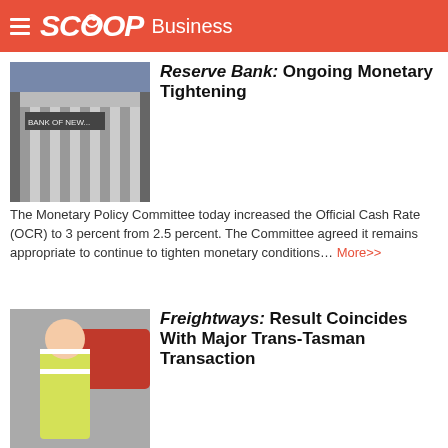SCOOP Business
Reserve Bank: Ongoing Monetary Tightening
The Monetary Policy Committee today increased the Official Cash Rate (OCR) to 3 percent from 2.5 percent. The Committee agreed it remains appropriate to continue to tighten monetary conditions… More>>
Freightways: Result Coincides With Major Trans-Tasman Transaction
Freightways has today announced its annual result, reporting profits of $70.2 million for the FY22 year as well as a A$160 million transaction with Allied Express, one of Australia's largest independently owned courier and express freight providers… More>>